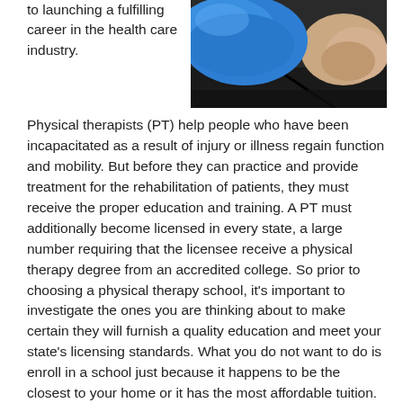to launching a fulfilling career in the health care industry.
[Figure (photo): Close-up photo of a person wearing a blue sleeve/shirt, with an arm or shoulder visible, lying on a dark surface — likely a physical therapy or medical context.]
Physical therapists (PT) help people who have been incapacitated as a result of injury or illness regain function and mobility. But before they can practice and provide treatment for the rehabilitation of patients, they must receive the proper education and training. A PT must additionally become licensed in every state, a large number requiring that the licensee receive a physical therapy degree from an accredited college. So prior to choosing a physical therapy school, it’s important to investigate the ones you are thinking about to make certain they will furnish a quality education and meet your state’s licensing standards. What you do not want to do is enroll in a school just because it happens to be the closest to your home or it has the most affordable tuition. There are other important qualifications that must be considered besides cost and location. But before we cover what those